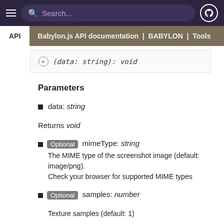Search... | API | Babylon.js API documentation | BABYLON | Tools
Parameters
data: string
Returns void
Optional mimeType: string
The MIME type of the screenshot image (default: image/png).
Check your browser for supported MIME types
Optional samples: number
Texture samples (default: 1)